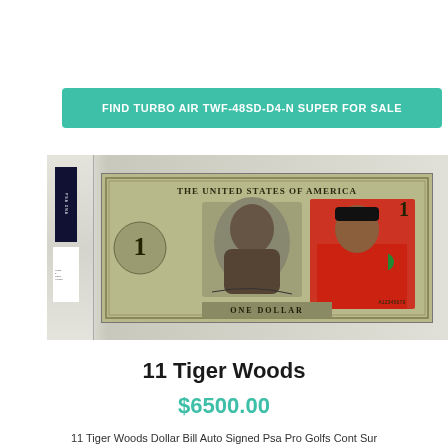FIND TURBO AIR TWF-48SD-D4-N SUPER FOR SALE
[Figure (photo): PSA-graded slab containing a Tiger Woods signed dollar bill. The bill shows 'THE UNITED STATES OF AMERICA' at the top with an image of Tiger Woods in a red shirt overlaid on the right side.]
11 Tiger Woods
$6500.00
11 Tiger Woods Dollar Bill Auto Signed Psa Pro Golfs Cont Sur